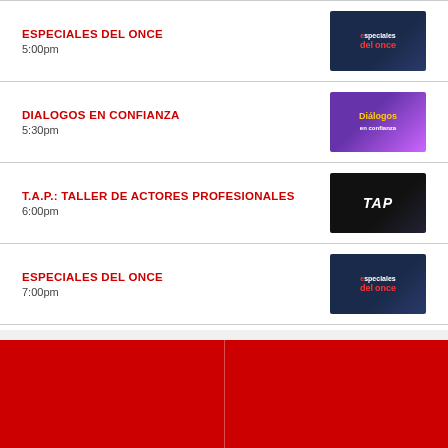ESPECIALES DEL ONCE
5:00pm
DIALOGOS EN CONFIANZA
5:30pm
T.A.P.: TALLER DE ACTORES PROFESIONALES
6:00pm
ESPECIALES DEL ONCE
7:00pm
XEJ NOTICIAS ESTELAR
8:00pm